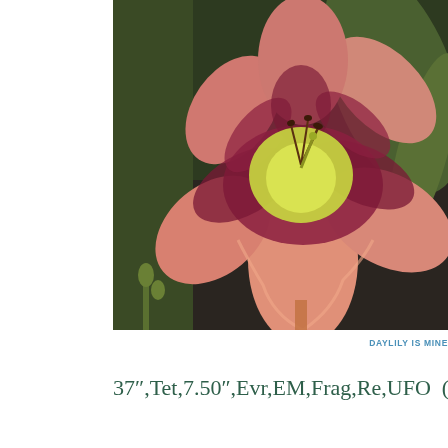[Figure (photo): Close-up photograph of a daylily flower with pink petals, dark red/magenta eye zone, and yellow-green throat, with green foliage and buds in background]
DAYLILY IS MINE
37″,Tet,7.50″,Evr,EM,Frag,Re,UFO  (Thundercat ×